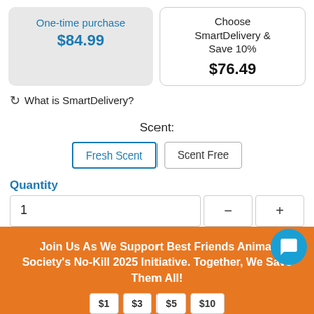One-time purchase $84.99
Choose SmartDelivery & Save 10% $76.49
↻ What is SmartDelivery?
Scent:
Fresh Scent
Scent Free
Quantity
1
Join Us As We Support Best Friends Animal Society's No-Kill 2025 Initiative. Together, We Save Them All!
$1  $3  $5  $10